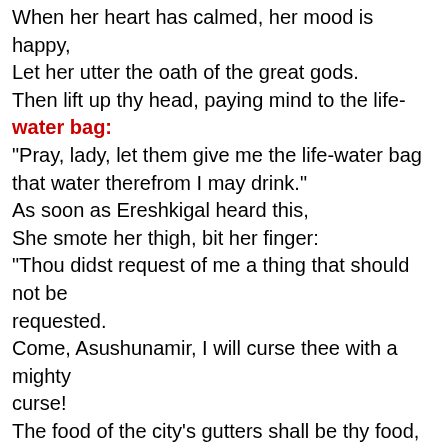When her heart has calmed, her mood is happy,
Let her utter the oath of the great gods.
Then lift up thy head, paying mind to the life-water bag:
"Pray, lady, let them give me the life-water bag that water therefrom I may drink."
As soon as Ereshkigal heard this,
She smote her thigh, bit her finger:
"Thou didst request of me a thing that should not be requested.
Come, Asushunamir, I will curse thee with a mighty curse!
The food of the city's gutters shall be thy food,
The sewers of the city shall be thy drink.
The threshold shall be thy habitation,
The besotted and the thirsty shall smite they cheek!"
Ereshkigal opened her mouth to speak,
Saying these words to Namtar, her vizier:
"Up, Namtar, knock at Egalgina,
Adorn the thresholds with the coral-stone,
Bring forth the Anunnaki, seated them on thrones of